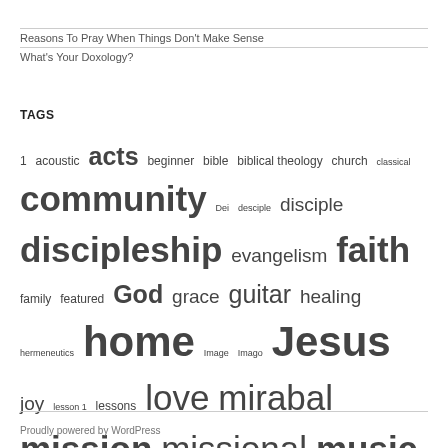Reasons To Pray When Things Don't Make Sense
What's Your Doxology?
TAGS
1 acoustic acts beginner bible biblical theology church classical community Dei desciple disciple discipleship evangelism faith family featured God grace guitar healing hermeneutics home Image Imago Jesus joy lesson 1 lessons love mirabal mission missional music NT peter Romans spiritual stephen story suffering theology Trinity worship Yahweh
Proudly powered by WordPress